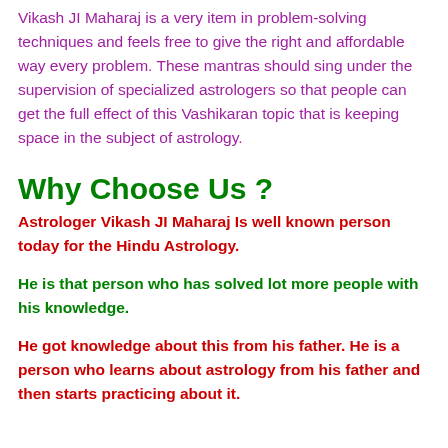Vikash JI Maharaj is a very item in problem-solving techniques and feels free to give the right and affordable way every problem. These mantras should sing under the supervision of specialized astrologers so that people can get the full effect of this Vashikaran topic that is keeping space in the subject of astrology.
Why Choose Us ?
Astrologer Vikash JI Maharaj Is well known person today for the Hindu Astrology.
He is that person who has solved lot more people with his knowledge.
He got knowledge about this from his father. He is a person who learns about astrology from his father and then starts practicing about it.